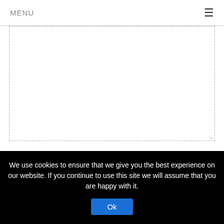MENU ≡
[Figure (screenshot): A large empty textarea input box with dashed border and resize handle in bottom-right corner]
Name *
[Figure (screenshot): A text input box for the Name field]
We use cookies to ensure that we give you the best experience on our website. If you continue to use this site we will assume that you are happy with it.
Ok